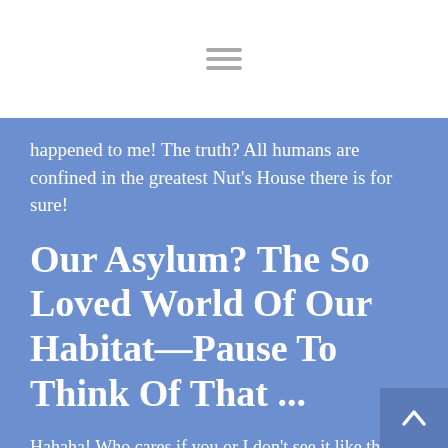happened to me! The truth? All humans are confined in the greatest Nut's House there is for sure!
Our Asylum? The So Loved World Of Our Habitat—Pause To Think Of That ...
Hahaha! Who cares if you or I don't see it like that? All one has to do?
Go to the mall, the airport, the market, the park— Disney World, and etc.—